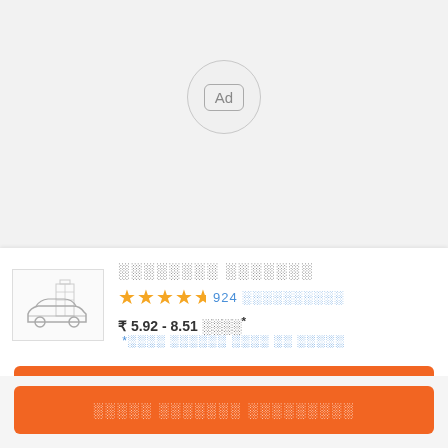[Figure (other): Advertisement placeholder badge with 'Ad' label inside a circle]
░░░░░░░░ ░░░░░░░
★★★★½ 924 ░░░░░░░░░░
₹ 5.92 - 8.51 ░░░░* *░░░░ ░░░░░░ ░░░░ ░░ ░░░░░
░░░░░ ░░░░░░░ ░░░░░░░░░
░░░░░ ░░░░░░░ ░░░░░░░░░